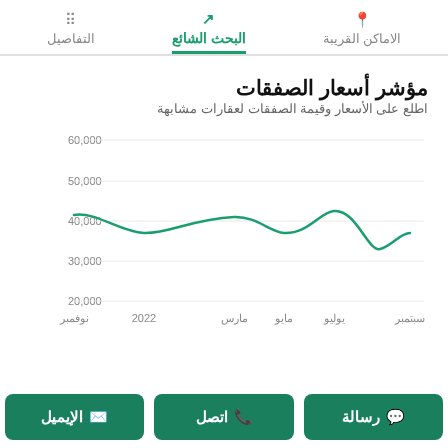التفاصيل | البحث الشائع | الاماكن القريبة
مؤشر أسعار الصفقات
اطلع على الأسعار وقيمة الصفقات لعقارات مشابهة
[Figure (line-chart): مؤشر أسعار الصفقات]
رسالة | اتصل | الإيميل